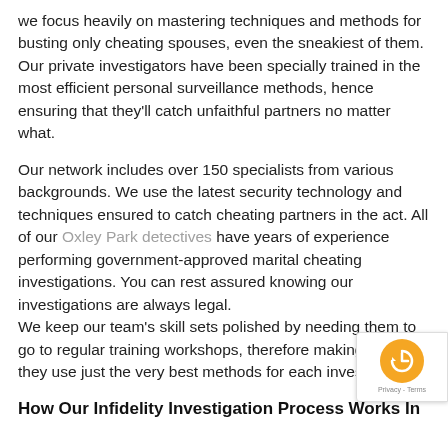we focus heavily on mastering techniques and methods for busting only cheating spouses, even the sneakiest of them. Our private investigators have been specially trained in the most efficient personal surveillance methods, hence ensuring that they'll catch unfaithful partners no matter what.
Our network includes over 150 specialists from various backgrounds. We use the latest security technology and techniques ensured to catch cheating partners in the act. All of our Oxley Park detectives have years of experience performing government-approved marital cheating investigations. You can rest assured knowing our investigations are always legal. We keep our team's skill sets polished by needing them to go to regular training workshops, therefore making sure that they use just the very best methods for each investigation.
How Our Infidelity Investigation Process Works In